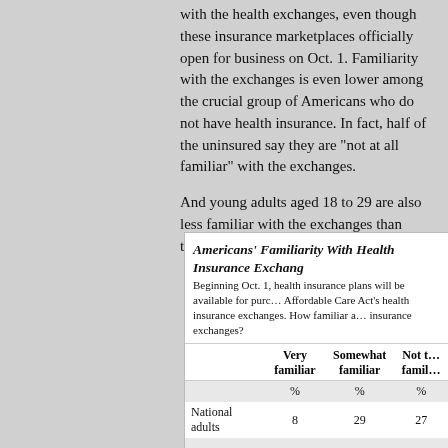with the health exchanges, even though these insurance marketplaces officially open for business on Oct. 1. Familiarity with the exchanges is even lower among the crucial group of Americans who do not have health insurance. In fact, half of the uninsured say they are “not at all familiar” with the exchanges.
And young adults aged 18 to 29 are also less familiar with the exchanges than those who are older.
Americans’ Familiarity With Health Insurance Exchang…
Beginning Oct. 1, health insurance plans will be available for purchase through the Affordable Care Act’s health insurance exchanges. How familiar a… insurance exchanges?
|  | Very familiar | Somewhat familiar | Not to… famil… |
| --- | --- | --- | --- |
|  | % | % | % |
| National adults | 8 | 29 | 27 |
| Insured | 9 | 32 | 28 |
| Uninsured | 5 | 20 | 21 |
| 18-29 | 5 | 22 | 32 |
| 30-49 | 8 | 33 | 24 |